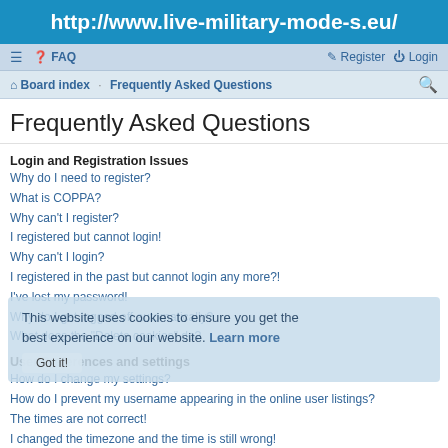http://www.live-military-mode-s.eu/
≡  FAQ   Register  Login
Board index · Frequently Asked Questions
Frequently Asked Questions
Login and Registration Issues
Why do I need to register?
What is COPPA?
Why can't I register?
I registered but cannot login!
Why can't I login?
I registered in the past but cannot login any more?!
I've lost my password!
Why do I get logged off automatically?
What does the "Delete cookies" do?
User Preferences and settings
How do I change my settings?
How do I prevent my username appearing in the online user listings?
The times are not correct!
I changed the timezone and the time is still wrong!
My language is not in the list!
What are the images next to my username?